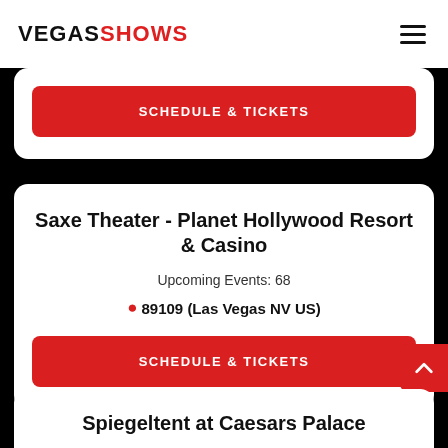VEGASSHOWS
SCHEDULE & TICKETS
Saxe Theater - Planet Hollywood Resort & Casino
Upcoming Events: 68
89109 (Las Vegas NV US)
SCHEDULE & TICKETS
Spiegeltent at Caesars Palace